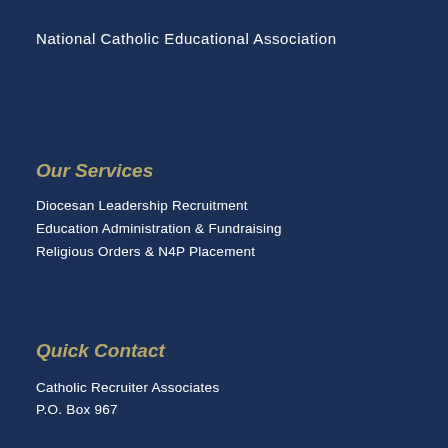National Catholic Educational Association
Our Services
Diocesan Leadership Recruitment
Education Administration & Fundraising
Religious Orders & N4P Placement
Quick Contact
Catholic Recruiter Associates
P.O. Box 967